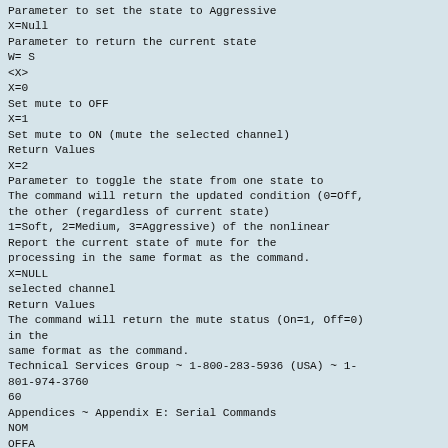Parameter to set the state to Aggressive
X=Null
Parameter to return the current state
W= S
<X>
X=0
Set mute to OFF
X=1
Set mute to ON (mute the selected channel)
Return Values
X=2
Parameter to toggle the state from one state to
The command will return the updated condition (0=Off,
the other (regardless of current state)
1=Soft, 2=Medium, 3=Aggressive) of the nonlinear
Report the current state of mute for the
processing in the same format as the command.
X=NULL
selected channel
Return Values
The command will return the mute status (On=1, Off=0)
in the
same format as the command.
Technical Services Group ~ 1-800-283-5936 (USA) ~ 1-
801-974-3760
60
Appendices ~ Appendix E: Serial Commands
NOM
OFFA
This command changes or reports back state of NOM
This command changes or reports back the setting of
off
attenuation for each channel.